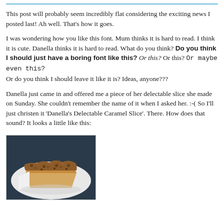This post will probably seem incredibly flat considering the exciting news I posted last! Ah well. That's how it goes.
I was wondering how you like this font. Mum thinks it is hard to read. I think it is cute. Danella thinks it is hard to read. What do you think? Do you think I should just have a boring font like this? Or this? Or this? Or maybe even this? Or do you think I should leave it like it is? Ideas, anyone???
Danella just came in and offered me a piece of her delectable slice she made on Sunday. She couldn't remember the name of it when I asked her. :-( So I'll just christen it 'Danella's Delectable Caramel Slice'. There. How does that sound? It looks a little like this:
[Figure (photo): A photograph of a piece of caramel slice on a white plate, showing a crumbly topping over a caramel and biscuit base.]